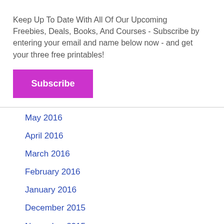Keep Up To Date With All Of Our Upcoming Freebies, Deals, Books, And Courses - Subscribe by entering your email and name below now - and get your three free printables!
Subscribe
May 2016
April 2016
March 2016
February 2016
January 2016
December 2015
November 2015
October 2015
September 2015
August 2015
July 2015